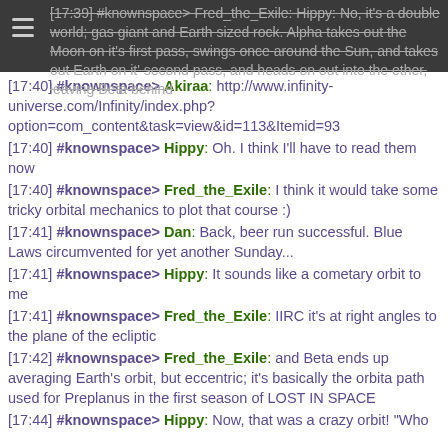[17:39] #knownspace> Fred_the_Exile: Hippy: No, it's a double world; gas giant and Earth sized rock. Alpha takes out the Moon on it's first pass, swings once around the Sun, and takes out Earth on it' second pass, and heads on out into the ether, leaving Beta behind
[17:40] #knownspace> Akiraa: http://www.infinity-universe.com/Infinity/index.php?option=com_content&task=view&id=113&Itemid=93
[17:40] #knownspace> Hippy: Oh. I think I'll have to read them now
[17:40] #knownspace> Fred_the_Exile: I think it would take some tricky orbital mechanics to plot that course :)
[17:41] #knownspace> Dan: Back, beer run successful. Blue Laws circumvented for yet another Sunday...
[17:41] #knownspace> Hippy: It sounds like a cometary orbit to me
[17:41] #knownspace> Fred_the_Exile: IIRC it's at right angles to the plane of the ecliptic
[17:42] #knownspace> Fred_the_Exile: and Beta ends up averaging Earth's orbit, but eccentric; it's basically the orbita path used for Preplanus in the first season of LOST IN SPACE
[17:44] #knownspace> Hippy: Now, that was a crazy orbit! "Who